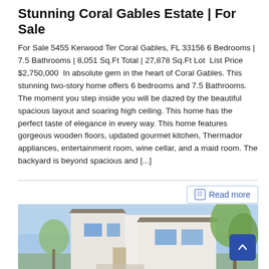Stunning Coral Gables Estate | For Sale
For Sale 5455 Kerwood Ter Coral Gables, FL 33156 6 Bedrooms | 7.5 Bathrooms | 8,051 Sq.Ft Total | 27,878 Sq.Ft Lot  List Price $2,750,000  In absolute gem in the heart of Coral Gables. This stunning two-story home offers 6 bedrooms and 7.5 Bathrooms. The moment you step inside you will be dazed by the beautiful spacious layout and soaring high ceiling. This home has the perfect taste of elegance in every way. This home features gorgeous wooden floors, updated gourmet kitchen, Thermador appliances, entertainment room, wine cellar, and a maid room. The backyard is beyond spacious and [...]
Read more
[Figure (photo): Exterior photo of a white two-story modern home with blue sky and trees in the background]